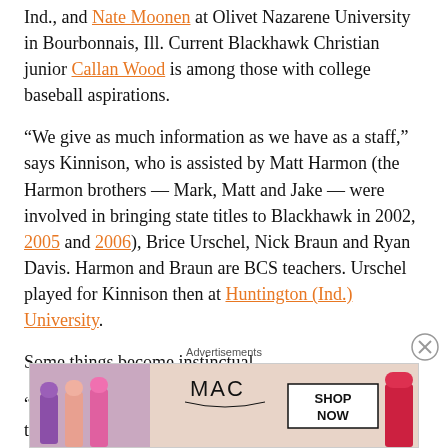Ind., and Nate Moonen at Olivet Nazarene University in Bourbonnais, Ill. Current Blackhawk Christian junior Callan Wood is among those with college baseball aspirations.
“We give as much information as we have as a staff,” says Kinnison, who is assisted by Matt Harmon (the Harmon brothers — Mark, Matt and Jake — were involved in bringing state titles to Blackhawk in 2002, 2005 and 2006), Brice Urschel, Nick Braun and Ryan Davis. Harmon and Braun are BCS teachers. Urschel played for Kinnison then at Huntington (Ind.) University.
Some things become instinctual.
“We don’t use signs very much,” says Kinnison. “We take what they’re giving us.”
[Figure (photo): MAC cosmetics advertisement showing lipsticks in purple, peach, pink, and red colors with SHOP NOW button]